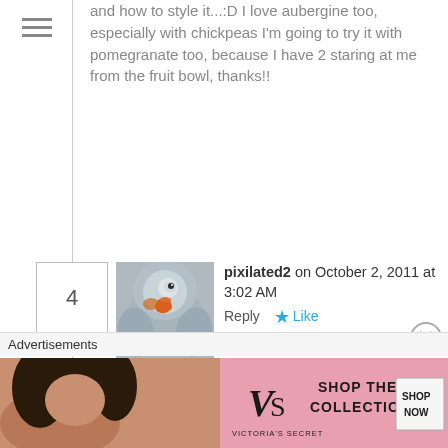and how to style it...:D I love aubergine too, especially with chickpeas I'm going to try it with pomegranate too, because I have 2 staring at me from the fruit bowl, thanks!!
4
[Figure (photo): Close-up photo of a grey parrot with orange details]
pixilated2 on October 2, 2011 at 3:02 AM   Reply  ★ Like
Looks like another winner, and again I have all the ingredients on hand! ~ Lynda
PS: Last time I made one of your recipes my husband told me I had to become very good friends with you...
😉
Advertisements
[Figure (screenshot): Victoria's Secret advertisement banner: woman with curly hair, VS logo, text SHOP THE COLLECTION, SHOP NOW button on pink background]